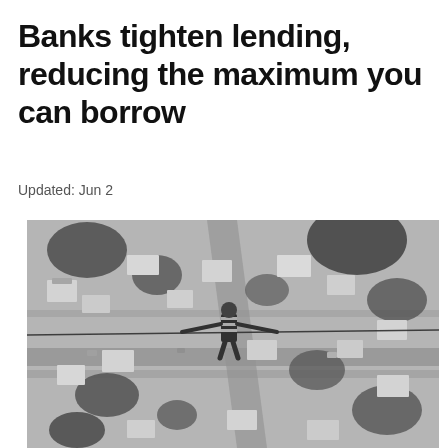Banks tighten lending, reducing the maximum you can borrow
Updated: Jun 2
[Figure (photo): Black and white aerial photograph of a suburban neighbourhood with houses, trees, and roads, showing a person walking on a tightrope or wire high above the ground, viewed from above.]